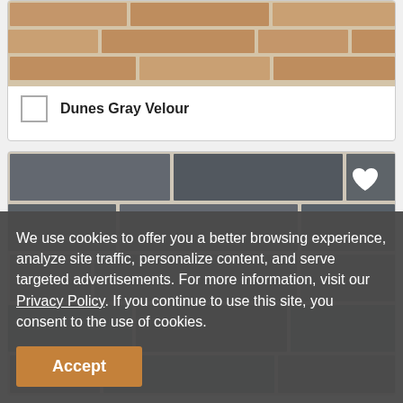[Figure (photo): Top portion of a tan/beige brick product card for Dunes Gray Velour, showing rows of tan bricks]
Dunes Gray Velour
[Figure (photo): Dark gray brick pattern showing multiple rows of gray bricks with white mortar joints and a heart/favorite icon in the top right corner]
We use cookies to offer you a better browsing experience, analyze site traffic, personalize content, and serve targeted advertisements. For more information, visit our Privacy Policy. If you continue to use this site, you consent to the use of cookies.
Accept